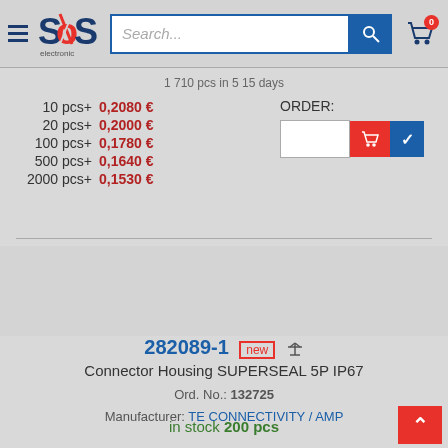SOS electronic — Search... [search bar] [cart: 0]
1 710 pcs in 5 15 days
| Quantity | Price |
| --- | --- |
| 10 pcs+ | 0,2080 € |
| 20 pcs+ | 0,2000 € |
| 100 pcs+ | 0,1780 € |
| 500 pcs+ | 0,1640 € |
| 2000 pcs+ | 0,1530 € |
ORDER:
282089-1 new
Connector Housing SUPERSEAL 5P IP67
Ord. No.: 132725
Manufacturer: TE CONNECTIVITY / AMP
in stock 200 pcs